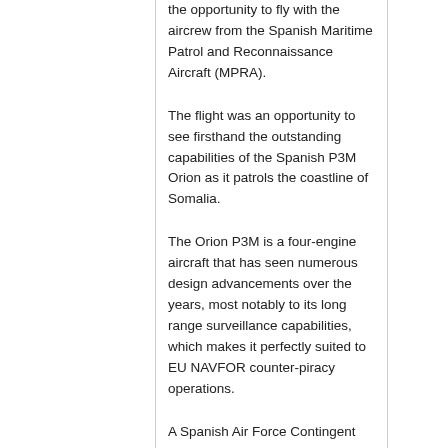the opportunity to fly with the aircrew from the Spanish Maritime Patrol and Reconnaissance Aircraft (MPRA).
The flight was an opportunity to see firsthand the outstanding capabilities of the Spanish P3M Orion as it patrols the coastline of Somalia.
The Orion P3M is a four-engine aircraft that has seen numerous design advancements over the years, most notably to its long range surveillance capabilities, which makes it perfectly suited to EU NAVFOR counter-piracy operations.
A Spanish Air Force Contingent has been permanently deployed in Djibouti since Operation Atalanta was launched and has made a significant contribution to the suppression of pirate attacks on